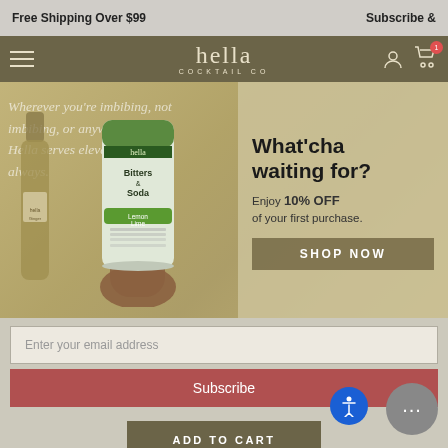Free Shipping Over $99    Subscribe &
[Figure (screenshot): Hella Cocktail Co navigation bar with hamburger menu, logo, user icon, and cart icon]
[Figure (photo): Hero banner showing a hand holding a Hella Bitters & Soda Lemon Lime can with product bottles in background. Overlay popup showing: What'cha waiting for? Enjoy 10% OFF of your first purchase. SHOP NOW button. Background text reads: Wherever you're imbibing, not imbibing, or anywhere, Hella serves elevated always.]
Enter your email address
Subscribe
ADD TO CART